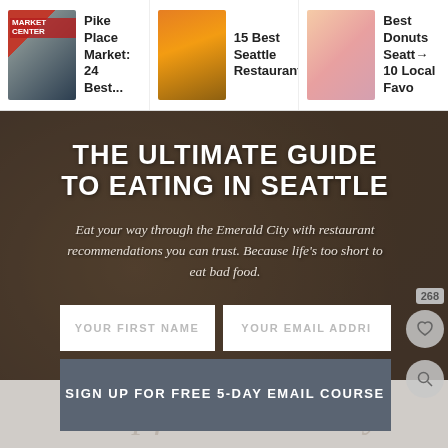[Figure (screenshot): Website screenshot showing navigation thumbnails at top: Pike Place Market article, 15 Best Seattle Restaurants article, Best Donuts Seattle local favorites article]
THE ULTIMATE GUIDE TO EATING IN SEATTLE
Eat your way through the Emerald City with restaurant recommendations you can trust. Because life’s too short to eat bad food.
YOUR FIRST NAME
YOUR EMAIL ADDRI
SIGN UP FOR FREE 5-DAY EMAIL COURSE